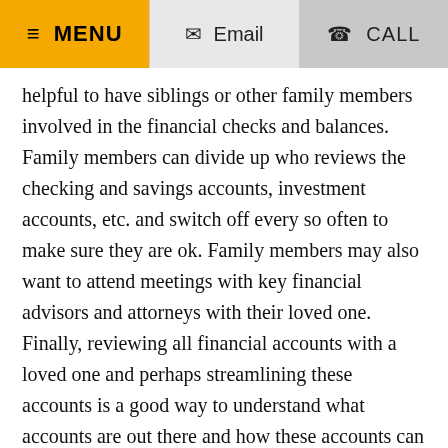MENU | Email | CALL
helpful to have siblings or other family members involved in the financial checks and balances. Family members can divide up who reviews the checking and savings accounts, investment accounts, etc. and switch off every so often to make sure they are ok. Family members may also want to attend meetings with key financial advisors and attorneys with their loved one. Finally, reviewing all financial accounts with a loved one and perhaps streamlining these accounts is a good way to understand what accounts are out there and how these accounts can be managed.
Financial abuse is a scary situation for both seniors and their families. If a family believes their loved one is being taken advantage of, they may want to speak with an attorney who specializes in elder abuse. An attorney can